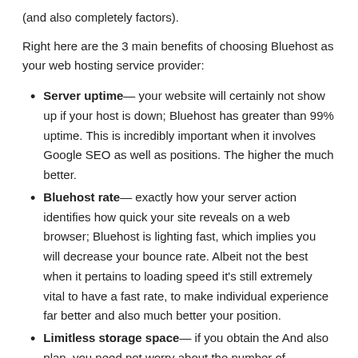(and also completely factors).
Right here are the 3 main benefits of choosing Bluehost as your web hosting service provider:
Server uptime— your website will certainly not show up if your host is down; Bluehost has greater than 99% uptime. This is incredibly important when it involves Google SEO as well as positions. The higher the much better.
Bluehost rate— exactly how your server action identifies how quick your site reveals on a web browser; Bluehost is lighting fast, which implies you will decrease your bounce rate. Albeit not the best when it pertains to loading speed it's still extremely vital to have a fast rate, to make individual experience far better and also much better your position.
Limitless storage space— if you obtain the And also plan, you need not worry about the number of documents you save such as video clips– your storage capacity is endless.